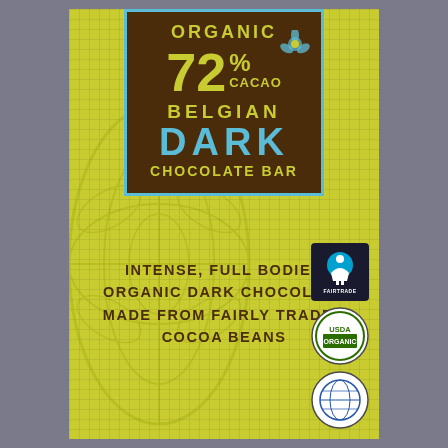[Figure (photo): Organic 72% Cacao Belgian Dark Chocolate Bar product packaging on gray fabric background. Yellow-green wrapper with brown label box and Fairtrade, USDA Organic, and additional certification logos.]
ORGANIC 72% CACAO BELGIAN DARK CHOCOLATE BAR
INTENSE, FULL BODIED ORGANIC DARK CHOCOLATE MADE FROM FAIRLY TRADED COCOA BEANS